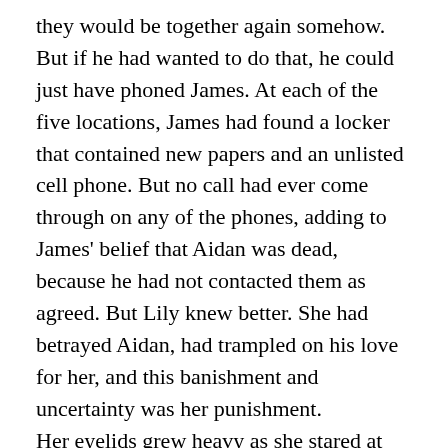they would be together again somehow.
But if he had wanted to do that, he could just have phoned James. At each of the five locations, James had found a locker that contained new papers and an unlisted cell phone. But no call had ever come through on any of the phones, adding to James' belief that Aidan was dead, because he had not contacted them as agreed. But Lily knew better. She had betrayed Aidan, had trampled on his love for her, and this banishment and uncertainty was her punishment.
Her eyelids grew heavy as she stared at the crystal wind chime, and a few minutes later, she fell asleep.
~ . ~
Lily woke what felt like only minutes later when James burst into the room. She jumped to her feet, startled, but